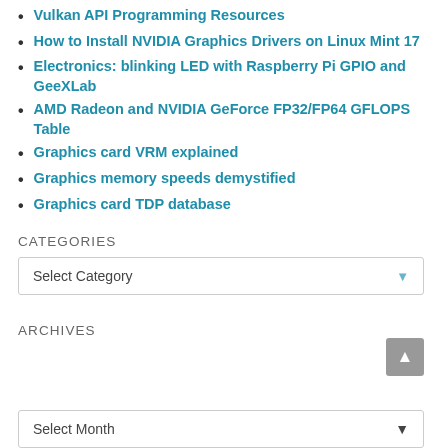Vulkan API Programming Resources
How to Install NVIDIA Graphics Drivers on Linux Mint 17
Electronics: blinking LED with Raspberry Pi GPIO and GeeXLab
AMD Radeon and NVIDIA GeForce FP32/FP64 GFLOPS Table
Graphics card VRM explained
Graphics memory speeds demystified
Graphics card TDP database
CATEGORIES
Select Category
ARCHIVES
Select Month